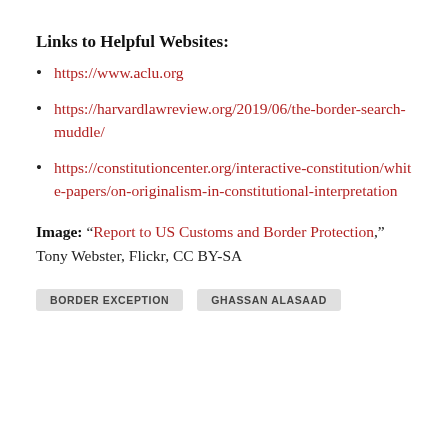Links to Helpful Websites:
https://www.aclu.org
https://harvardlawreview.org/2019/06/the-border-search-muddle/
https://constitutioncenter.org/interactive-constitution/white-papers/on-originalism-in-constitutional-interpretation
Image: “Report to US Customs and Border Protection,” Tony Webster, Flickr, CC BY-SA
BORDER EXCEPTION   GHASSAN ALASAAD